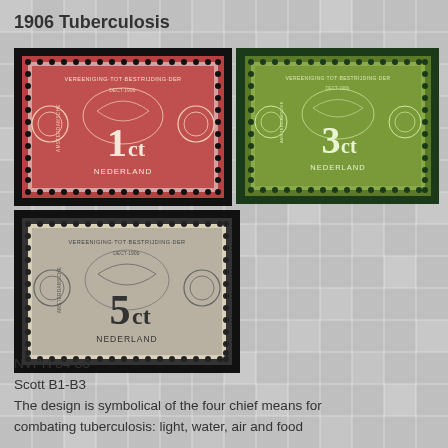1906 Tuberculosis
[Figure (photo): Three Dutch postage stamps from 1906 Tuberculosis series. Top-left: 1 cent red stamp showing 'VEREENIGING TOT BESTRIJDING DER TUBERCULOSE / NEDERLAND'. Top-right: 3 cent green stamp with same design. Bottom-left: 5 cent grey stamp with same design. All feature ornate Art Nouveau design symbolical of the four chief means for combating tuberculosis.]
NVPH 84-86
Scott B1-B3
The design is symbolical of the four chief means for combating tuberculosis: light, water, air and food